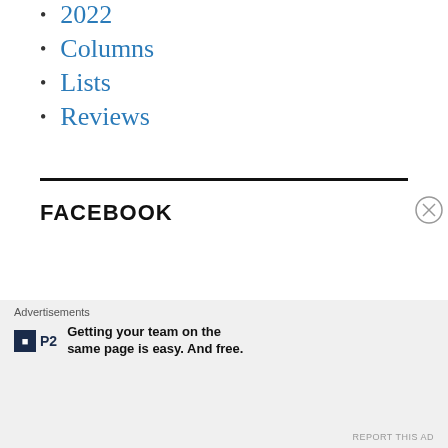2022
Columns
Lists
Reviews
FACEBOOK
Advertisements
Getting your team on the same page is easy. And free.